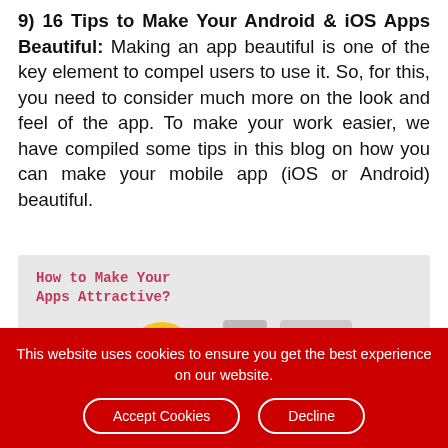9) 16 Tips to Make Your Android & iOS Apps Beautiful: Making an app beautiful is one of the key element to compel users to use it. So, for this, you need to consider much more on the look and feel of the app. To make your work easier, we have compiled some tips in this blog on how you can make your mobile app (iOS or Android) beautiful.
[Figure (illustration): Infographic with light gray background showing title 'How to Make Your Apps Attractive?' in pink/red monospace font, with a cartoon face wearing sunglasses, a phone rectangle, a tablet rectangle, and a green circle.]
This website uses cookies to ensure you get the best experience on our website.